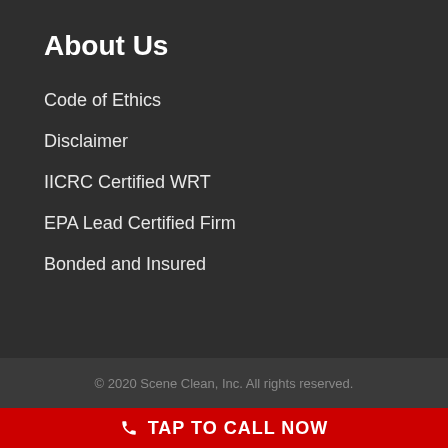About Us
Code of Ethics
Disclaimer
IICRC Certified WRT
EPA Lead Certified Firm
Bonded and Insured
© 2020 Scene Clean, Inc. All rights reserved.
TAP TO CALL NOW